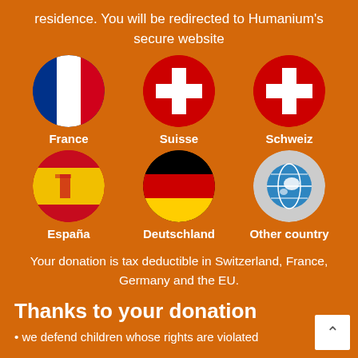residence. You will be redirected to Humanium's secure website
[Figure (infographic): Six circular flag icons arranged in a 2-row, 3-column grid: France (French tricolor), Suisse (Swiss flag), Schweiz (Swiss flag), España (Spanish flag), Deutschland (German flag), Other country (globe icon). Each flag is labeled below with bold white text.]
Your donation is tax deductible in Switzerland, France, Germany and the EU.
Thanks to your donation
• we defend children whose rights are violated